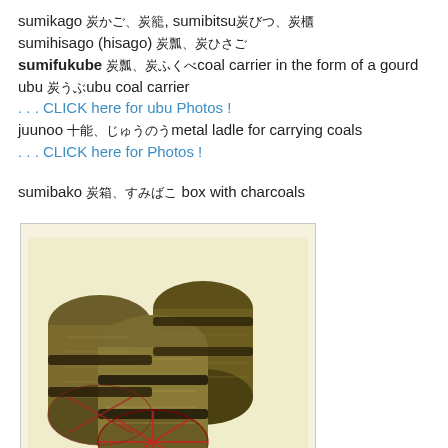sumikago 炭かご、炭籠, sumibitsu炭びつ、炭櫃
sumihisago (hisago) 炭瓢、炭ひさご
sumifukube 炭瓢、炭ひさご coal carrier in the form of a gourd ubu 炭うぶ ubu coal carrier
. . . CLICK here for ubu Photos !
juunoo 十能、じゅうのう metal ladle for carrying coals
. . . CLICK here for Photos !
sumibako 炭箱、すみばこ box with charcoals
[Figure (photo): Photo of bundled charcoal pieces wrapped in straw/rope, forming cylindrical shapes tied together with decorative red cord.]
sumidawara 炭俵 (すみだわら) sack for wrapping charcoal ..... sumigamasu 炭かます、炭叺, sumisugo 炭すご、炭簡, datsu 炭俵 sack for charcoal